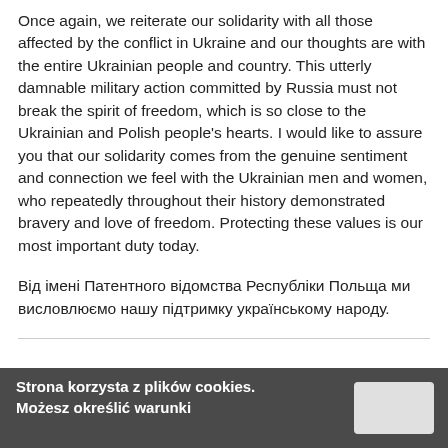Once again, we reiterate our solidarity with all those affected by the conflict in Ukraine and our thoughts are with the entire Ukrainian people and country. This utterly damnable military action committed by Russia must not break the spirit of freedom, which is so close to the Ukrainian and Polish people's hearts. I would like to assure you that our solidarity comes from the genuine sentiment and connection we feel with the Ukrainian men and women, who repeatedly throughout their history demonstrated bravery and love of freedom. Protecting these values is our most important duty today.
Від імені Патентного відомства Республіки Польща ми висловлюємо нашу підтримку українському народу.
Strona korzysta z plików cookies. Możesz określić warunki